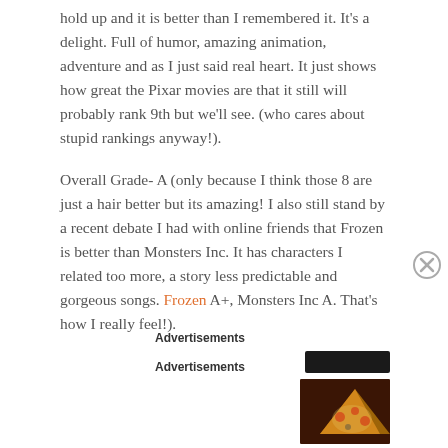hold up and it is better than I remembered it. It's a delight. Full of humor, amazing animation, adventure and as I just said real heart. It just shows how great the Pixar movies are that it still will probably rank 9th but we'll see. (who cares about stupid rankings anyway!).
Overall Grade- A (only because I think those 8 are just a hair better but its amazing! I also still stand by a recent debate I had with online friends that Frozen is better than Monsters Inc. It has characters I related too more, a story less predictable and gorgeous songs. Frozen A+, Monsters Inc A. That's how I really feel!).
Advertisements
[Figure (other): Dark advertisement bar (black rectangle)]
Advertisements
[Figure (other): Seamless food delivery advertisement banner with pizza image on left, red Seamless logo in center, and ORDER NOW button in white border on right, on dark background]